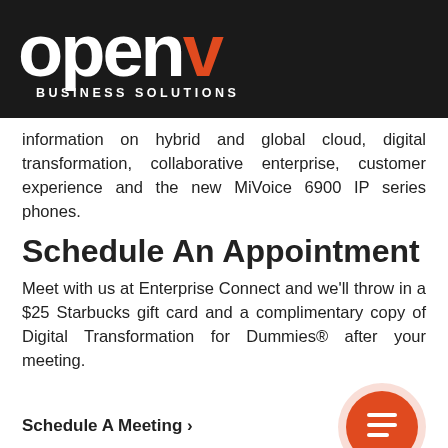[Figure (logo): openV Business Solutions logo — white lowercase 'open' and orange 'V' on black background, with 'BUSINESS SOLUTIONS' in white caps below]
information on hybrid and global cloud, digital transformation, collaborative enterprise, customer experience and the new MiVoice 6900 IP series phones.
Schedule An Appointment
Meet with us at Enterprise Connect and we'll throw in a $25 Starbucks gift card and a complimentary copy of Digital Transformation for Dummies® after your meeting.
Schedule A Meeting >
[Figure (illustration): Orange circle with white document/list icon]
Attend Our General Sessions